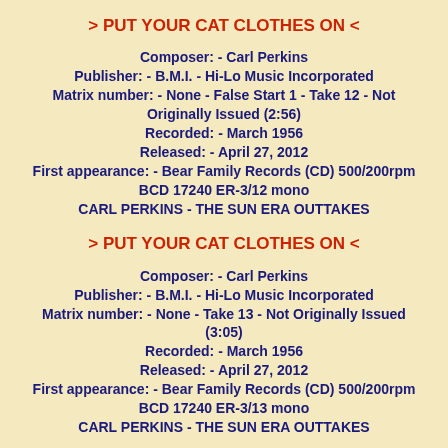> PUT YOUR CAT CLOTHES ON <
Composer: - Carl Perkins
Publisher: - B.M.I. - Hi-Lo Music Incorporated
Matrix number: - None - False Start 1 - Take 12 - Not Originally Issued (2:56)
Recorded: - March 1956
Released: - April 27, 2012
First appearance: - Bear Family Records (CD) 500/200rpm
BCD 17240 ER-3/12 mono
CARL PERKINS - THE SUN ERA OUTTAKES
> PUT YOUR CAT CLOTHES ON <
Composer: - Carl Perkins
Publisher: - B.M.I. - Hi-Lo Music Incorporated
Matrix number: - None - Take 13 - Not Originally Issued (3:05)
Recorded: - March 1956
Released: - April 27, 2012
First appearance: - Bear Family Records (CD) 500/200rpm
BCD 17240 ER-3/13 mono
CARL PERKINS - THE SUN ERA OUTTAKES
> PUT YOUR CAT CLOTHES ON <